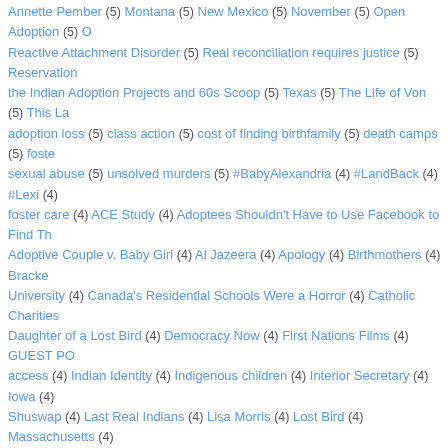Annette Pember (5) Montana (5) New Mexico (5) November (5) Open Adoption (5) Reactive Attachment Disorder (5) Real reconciliation requires justice (5) Reservation the Indian Adoption Projects and 60s Scoop (5) Texas (5) The Life of Von (5) This La adoption loss (5) class action (5) cost of finding birthfamily (5) death camps (5) fost sexual abuse (5) unsolved murders (5) #BabyAlexandria (4) #LandBack (4) #Lexi (4) foster care (4) ACE Study (4) Adoptees Shouldn't Have to Use Facebook to Find T Adoptive Couple v. Baby Girl (4) Al Jazeera (4) Apology (4) Birthmothers (4) Bracke University (4) Canada's Residential Schools Were a Horror (4) Catholic Charities Daughter of a Lost Bird (4) Democracy Now (4) First Nations Films (4) GUEST P access (4) Indian Identity (4) Indigenous children (4) Interior Secretary (4) Iowa (4) Shuswap (4) Last Real Indians (4) Lisa Morris (4) Lost Bird (4) Massachusetts (4) Metis (4) Missing and Murdered (4) Mormon history (4) Murray Sinclair (4) Myths School Healing Coalition (4) Native American History (4) Native American spirituality (4) New York state adoptees (4) Ontario class action lawsuit for adoptees (4) Papal Pound Pup Legacy (4) Real ID Act of 2005 (4) Reparations (4) Sisseton Wahpeton Standing Rock Sioux (4) Sudden Fury (4) Terry Cross (4) The Last Acceptable Ra Native Americans (4) Toxic stress (4) Truth and Reconciliation (4) U.S. Interior Secre Island (4) Why Treaties Matter (4) adoption history (4) adoption trauma (4) connecticu loss (4) domestic violence (4) federally recognized tribes (4) human rights abuses maryland adoptee murders parents (4) mass graves (4) movie review (4) reunion (4) se sterilize First Nations women (4) twitter (4) white supremacy (4) #BABYDAWN (3) # 2014 (3) 600 unmarked graves (3) ACLU (3) AIM (3) Addictions in Adoptees (3) A Adoption Scandals (3) Adult Adoptees Advocating for Change (3) AlJazeera (3) All Crisis (3) Arizona (3) Arizona Immigration (3) Australian orphans (3) BC (3) Bi Adoption (3) Broken Circle (3) Brown & Commanda v. Canada (3) CNN (3) Canadia (3) Children First (3) Cowessess First Nation (3) Cree Nation (3) Cricket: Secret Chi